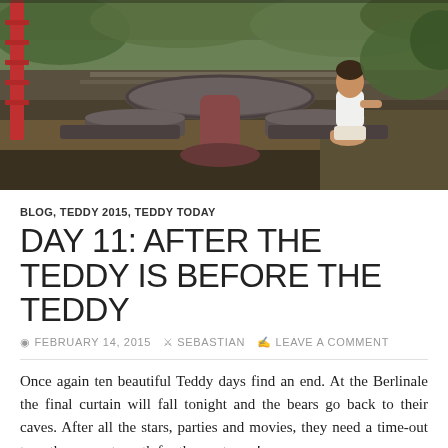[Figure (photo): Outdoor photo showing a stone mushroom-shaped table with benches in a park or garden setting. A woman in a white top and shorts sits on a bench. Red ladder/structure visible on the left. Lush green vegetation in the background.]
BLOG, TEDDY 2015, TEDDY TODAY
DAY 11: AFTER THE TEDDY IS BEFORE THE TEDDY
FEBRUARY 14, 2015   SEBASTIAN   LEAVE A COMMENT
Once again ten beautiful Teddy days find an end. At the Berlinale the final curtain will fall tonight and the bears go back to their caves. After all the stars, parties and movies, they need a time-out to gather new strength for the next year!